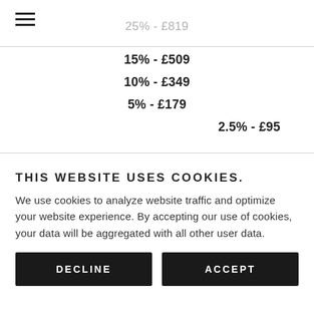[Figure (other): Hamburger menu icon (three horizontal lines)]
25% - £819
15% - £509
10% - £349
5% - £179
2.5% - £95
THIS WEBSITE USES COOKIES.
We use cookies to analyze website traffic and optimize your website experience. By accepting our use of cookies, your data will be aggregated with all other user data.
DECLINE
ACCEPT